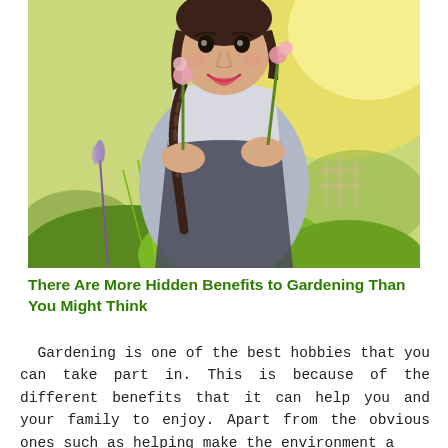[Figure (photo): A smiling young woman with a dark braid wearing a grey t-shirt and dark apron, holding plants and flowers in a sunny garden setting with green foliage in the foreground and a warm bokeh background.]
There Are More Hidden Benefits to Gardening Than You Might Think
Gardening is one of the best hobbies that you can take part in. This is because of the different benefits that it can help you and your family to enjoy. Apart from the obvious ones such as helping make the environment a